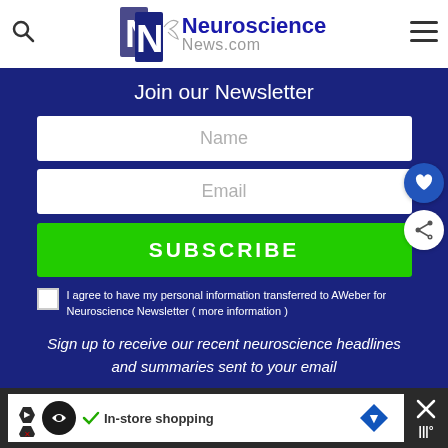Neuroscience News.com
Join our Newsletter
Name
Email
SUBSCRIBE
I agree to have my personal information transferred to AWeber for Neuroscience Newsletter ( more information )
Sign up to receive our recent neuroscience headlines and summaries sent to your email
[Figure (infographic): Advertisement bar at the bottom with in-store shopping ad and close button]